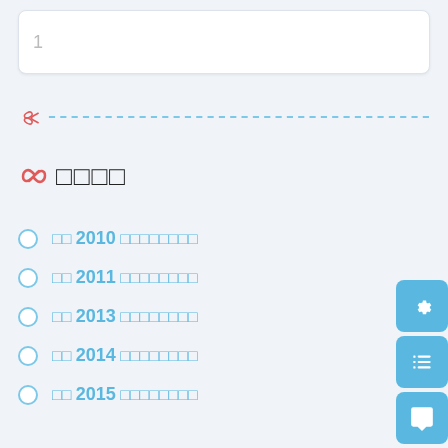1
[Figure (other): Dashed cut line with scissors icon]
□□□□
□□ 2010 □□□□□□□□
□□ 2011 □□□□□□□□
□□ 2013 □□□□□□□□
□□ 2014 □□□□□□□□
□□ 2015 □□□□□□□□